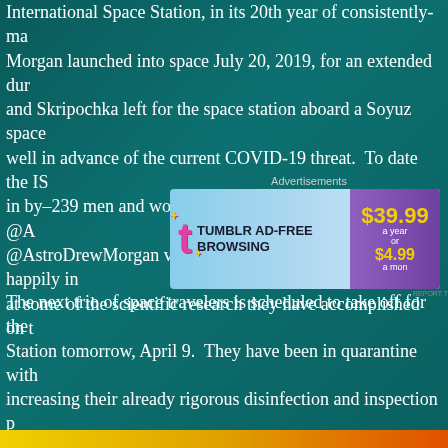International Space Station, in its 20th year of consistently-m... Morgan launched into space July 20, 2019, for an extended dur... and Skripochka left for the space station aboard a Soyuz space... well in advance of the current COVID-19 threat. To date the IS... in by–239 men and women from 19 countries. Follow Meir @A... @AstroDrewMorgan via Twitter for advice on living happily in... at some of the scientific research they have accomplished on t...
[Figure (screenshot): Tumblr advertisement banner for ad-free browsing, $39.99 a year or $4.99 a month]
The next trio of space travelers is scheduled to take off for the... Station tomorrow, April 9. They have been in quarantine with... increasing their already rigorous disinfection and inspection p... current pandemic. NASA has not released detailed protocols s... found to have COVID-19 during the mission, however, the ISS i... pharmacy full of pharmaceuticals, including advanced equipm... intubate an astronaut if necessary.